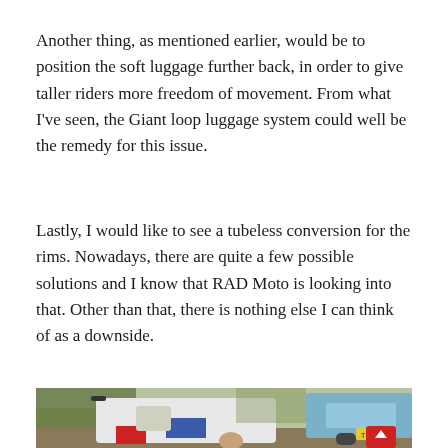Another thing, as mentioned earlier, would be to position the soft luggage further back, in order to give taller riders more freedom of movement. From what I've seen, the Giant loop luggage system could well be the remedy for this issue.
Lastly, I would like to see a tubeless conversion for the rims. Nowadays, there are quite a few possible solutions and I know that RAD Moto is looking into that. Other than that, there is nothing else I can think of as a downside.
[Figure (photo): Outdoor photo showing a white motorcycle with red and blue accents parked near trees, with a person crouching in front and a blue van visible on the right side in the background.]